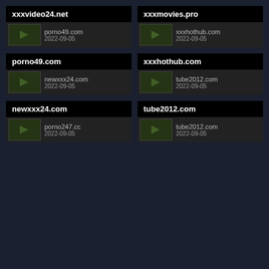xxxvideo24.net
[Figure (screenshot): Thumbnail preview of porno49.com dated 2022-09-05]
xxxmovies.pro
[Figure (screenshot): Thumbnail preview of xxxhothub.com dated 2022-09-05]
porno49.com
[Figure (screenshot): Thumbnail preview of newxxx24.com dated 2022-09-05]
xxxhothub.com
[Figure (screenshot): Thumbnail preview of tube2012.com dated 2022-09-05]
newxxx24.com
[Figure (screenshot): Thumbnail preview of porno247.cc dated 2022-09-05]
tube2012.com
[Figure (screenshot): Thumbnail preview of tube2012.com dated 2022-09-05]